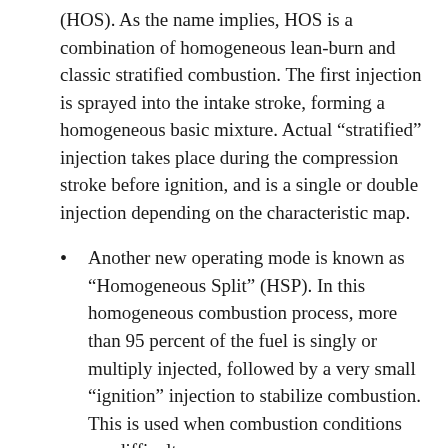(HOS). As the name implies, HOS is a combination of homogeneous lean-burn and classic stratified combustion. The first injection is sprayed into the intake stroke, forming a homogeneous basic mixture. Actual “stratified” injection takes place during the compression stroke before ignition, and is a single or double injection depending on the characteristic map.
Another new operating mode is known as “Homogeneous Split” (HSP). In this homogeneous combustion process, more than 95 percent of the fuel is singly or multiply injected, followed by a very small “ignition” injection to stabilize combustion. This is used when combustion conditions are difficult.